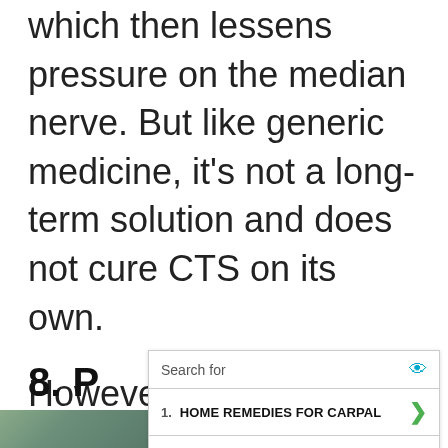which then lessens pressure on the median nerve. But like generic medicine, it's not a long-term solution and does not cure CTS on its own.
However, recovery is much faster when you pair medications with other methods...
8. P...
[Figure (screenshot): Advertisement overlay showing a search results widget with 'Search for' header and two results: 1. HOME REMEDIES FOR CARPAL and 2. SELF TEST FOR CARPAL TUNNEL, with Business Focus branding at the bottom.]
[Figure (photo): Partial image visible at bottom-left of the page, showing a green/nature themed image.]